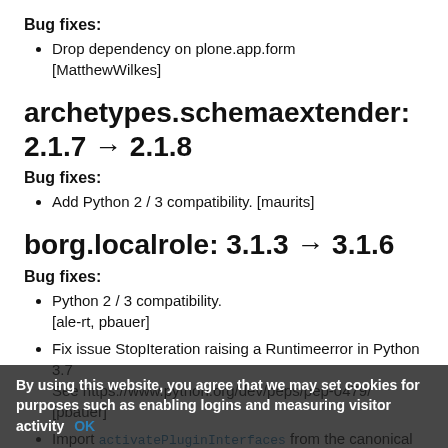Bug fixes:
Drop dependency on plone.app.form [MatthewWilkes]
archetypes.schemaextender: 2.1.7 → 2.1.8
Bug fixes:
Add Python 2 / 3 compatibility. [maurits]
borg.localrole: 3.1.3 → 3.1.6
Bug fixes:
Python 2 / 3 compatibility. [ale-rt, pbauer]
Fix issue StopIteration raising a Runtimeerror in Python 3.7 See https://www.python.org/dev/peps/pep-0479/ [pbauer]
Import activatePluginInterfaces from the canonical place in Products.PlonePAS.
By using this website, you agree that we may set cookies for purposes such as enabling logins and measuring visitor activity OK